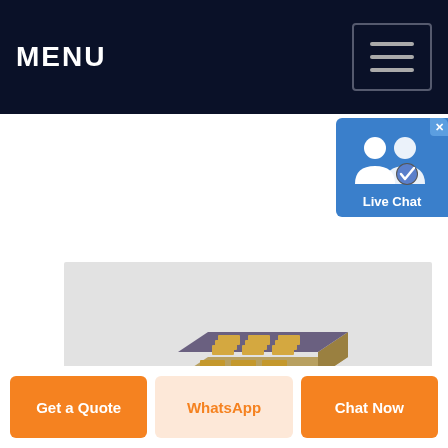MENU
[Figure (screenshot): Live Chat widget with two user silhouette icons and a checkmark badge, blue background, showing 'Live Chat' label and X close button]
[Figure (photo): SMD electronic component (surface-mount device) with gold pads on a gray background, partially visible at bottom of product image area]
Get a Quote
WhatsApp
Chat Now